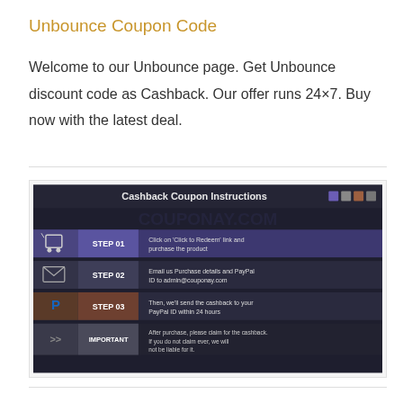Unbounce Coupon Code
Welcome to our Unbounce page. Get Unbounce discount code as Cashback. Our offer runs 24×7. Buy now with the latest deal.
[Figure (infographic): Cashback Coupon Instructions infographic showing 3 steps and an important note. Step 01: Click on 'Click to Redeem' link and purchase the product. Step 02: Email us Purchase details and PayPal ID to admin@couponay.com. Step 03: Then, we'll send the cashback to your PayPal ID within 24 hours. Important: After purchase, please claim for the cashback. If you do not claim ever, we will not be liable for it.]